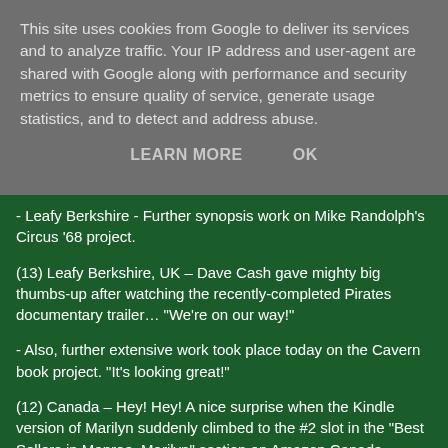This site uses cookies from Google to deliver its services and to analyze traffic. Your IP address and user-agent are shared with Google along with performance and security metrics to ensure quality of service, generate usage statistics, and to detect and address abuse.
LEARN MORE    OK
- Leafy Berkshire - Further synopsis work on Mike Randolph's Circus '68 project.
(13) Leafy Berkshire, UK – Dave Cash gave mighty big thumbs-up after watching the recently-completed Pirates documentary trailer… "We're on our way!"
- Also, further extensive work took place today on the Cavern book project. "It's looking great!"
(12) Canada – Hey! Hey! A nice surprise when the Kindle version of Marilyn suddenly climbed to the #2 slot in the "Best Sellers in Monroe, Marilyn" section on Amazon Canada. While, on the same day, same site, the book was